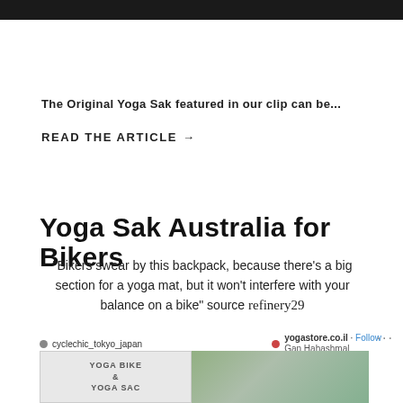The Original Yoga Sak featured in our clip can be...
READ THE ARTICLE →
Yoga Sak Australia for Bikers
"Bikers swear by this backpack, because there's a big section for a yoga mat, but it won't interfere with your balance on a bike" source refinery29
cyclechic_tokyo_japan   yogastore.co.il · Follow   Gan Hahashmal
[Figure (photo): Two social media post images side by side: left shows a graphic with text YOGA BIKE & YOGA SAC, right shows an outdoor photo with people and yoga mats]